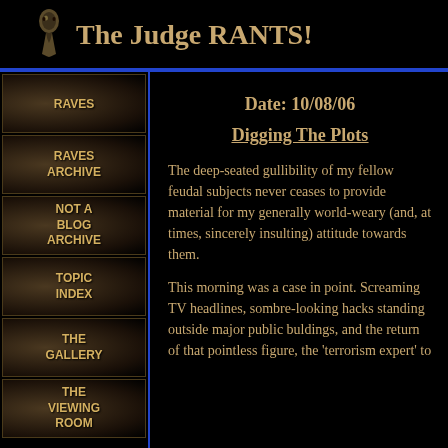The Judge RANTS!
RAVES
RAVES ARCHIVE
NOT A BLOG ARCHIVE
TOPIC INDEX
THE GALLERY
THE VIEWING ROOM
Date: 10/08/06
Digging The Plots
The deep-seated gullibility of my fellow feudal subjects never ceases to provide material for my generally world-weary (and, at times, sincerely insulting) attitude towards them.
This morning was a case in point. Screaming TV headlines, sombre-looking hacks standing outside major public buldings, and the return of that pointless figure, the 'terrorism expert' to